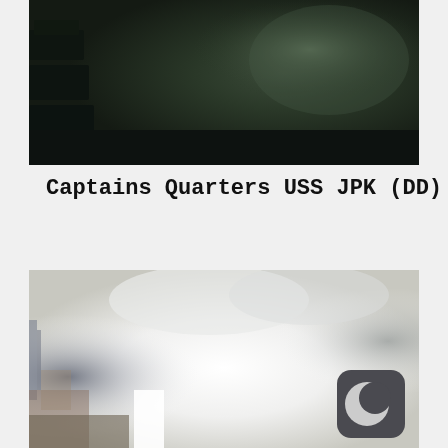[Figure (photo): Dark photograph of what appears to be an interior space with dim greenish-dark tones, showing furniture or equipment on the left side and a dark floor/surface.]
Captains Quarters USS JPK (DD)
[Figure (photo): Overexposed/washed out photograph showing a bright white center with elements of what appears to be an outdoor or ship-related scene with some structural elements visible on the left and right sides. A dark rounded square crescent moon icon (app icon) is overlaid in the bottom-right corner.]